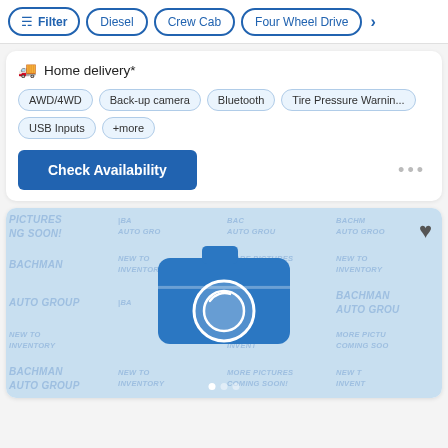Filter | Diesel | Crew Cab | Four Wheel Drive
Home delivery*
AWD/4WD
Back-up camera
Bluetooth
Tire Pressure Warnin...
USB Inputs
+more
Check Availability
[Figure (screenshot): Bachman Auto Group placeholder image with watermark text and camera icon indicating more pictures coming soon]